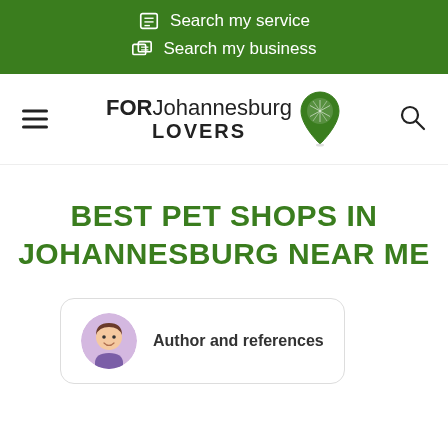Search my service
Search my business
[Figure (logo): FORJohannesburg LOVERS logo with map pin icon]
BEST PET SHOPS IN JOHANNESBURG NEAR ME
Author and references